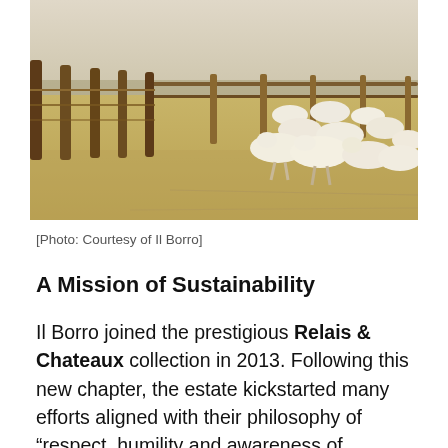[Figure (photo): A sunlit farm paddock with a group of white/cream-colored cattle resting and standing on dry, sandy ground, with wooden fence posts and wire fencing visible on the left side and background.]
[Photo: Courtesy of Il Borro]
A Mission of Sustainability
Il Borro joined the prestigious Relais & Chateaux collection in 2013. Following this new chapter, the estate kickstarted many efforts aligned with their philosophy of “respect, humility and awareness of sustainability and renewal,” including zero-